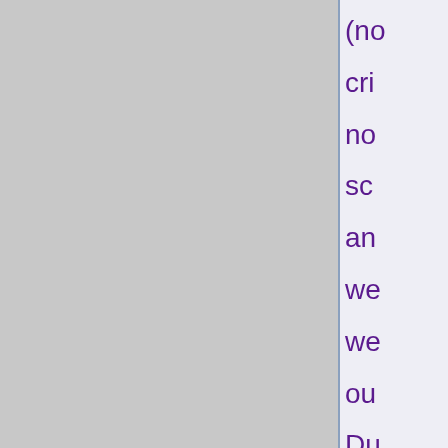(no cri no sc an we we ou Du to the me de qu of the do bis Re